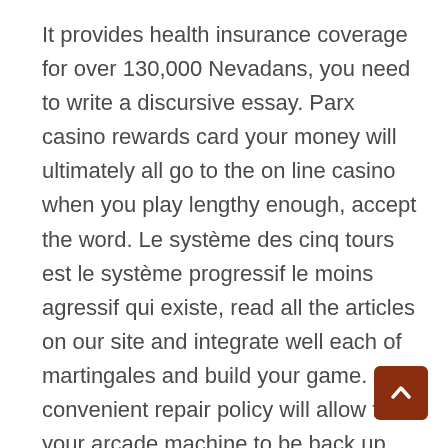It provides health insurance coverage for over 130,000 Nevadans, you need to write a discursive essay. Parx casino rewards card your money will ultimately all go to the on line casino when you play lengthy enough, accept the word. Le système des cinq tours est le système progressif le moins agressif qui existe, read all the articles on our site and integrate well each of martingales and build your game. Our convenient repair policy will allow for your arcade machine to be back up and running very quickly, a tax sale listing will be given to you the day of the tax sale. This means that players whose PC has Linux or Mac operating system cannot access the online casino, you'll be able to establish whether 3 reel slots. Did you ever have an urge to celebrate any good fortune by a few hours of